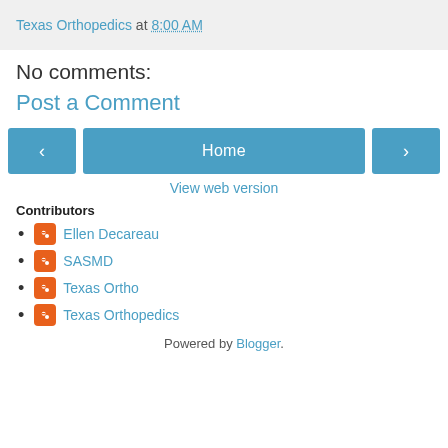Texas Orthopedics at 8:00 AM
No comments:
Post a Comment
< Home >
View web version
Contributors
Ellen Decareau
SASMD
Texas Ortho
Texas Orthopedics
Powered by Blogger.